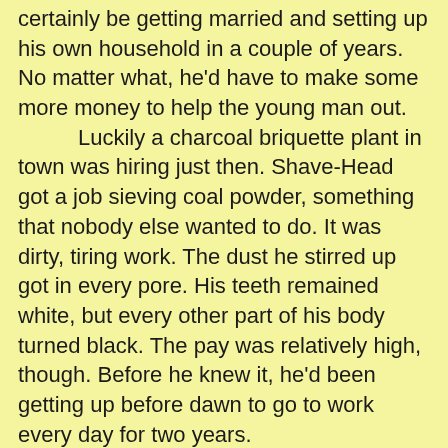certainly be getting married and setting up his own household in a couple of years. No matter what, he'd have to make some more money to help the young man out.

Luckily a charcoal briquette plant in town was hiring just then. Shave-Head got a job sieving coal powder, something that nobody else wanted to do. It was dirty, tiring work. The dust he stirred up got in every pore. His teeth remained white, but every other part of his body turned black. The pay was relatively high, though. Before he knew it, he'd been getting up before dawn to go to work every day for two years.

One day Shave-Head collapsed suddenly while he was shoveling coal powder. His son took him to the hospital and an examination revealed that his condition was serious – late stage lung cancer. All his hair fell out while he was undergoing chemotherapy in the hospital. He'd become Baldy. He rubbed his head and his hand